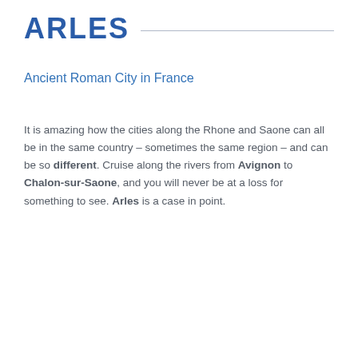ARLES
Ancient Roman City in France
It is amazing how the cities along the Rhone and Saone can all be in the same country – sometimes the same region – and can be so different. Cruise along the rivers from Avignon to Chalon-sur-Saone, and you will never be at a loss for something to see. Arles is a case in point.